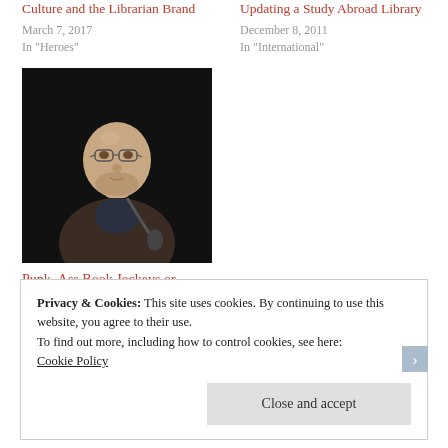Culture and the Librarian Brand
March 7, 2017
In "Heroes"
Updating a Study Abroad Library
December 8, 2011
In "International"
[Figure (photo): Bald man with glasses holding a microphone on a dark stage, wearing a brown jacket]
Punk–Ass Book Jockeys or Shushy–Spinsters? Librarian Stereotypes and LIS education.
August 20, 2015
Privacy & Cookies: This site uses cookies. By continuing to use this website, you agree to their use.
To find out more, including how to control cookies, see here:
Cookie Policy
Close and accept